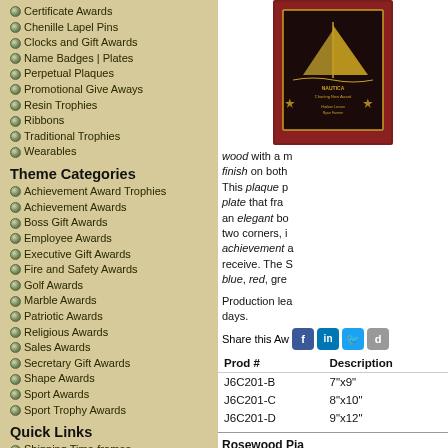Certificate Awards
Chenille Lapel Pins
Clocks and Gift Awards
Name Badges | Plates
Perpetual Plaques
Promotional Give Aways
Resin Trophies
Ribbons
Traditional Trophies
Wearables
Theme Categories
Achievement Award Trophies
Achievement Awards
Boss Gift Awards
Employee Awards
Executive Gift Awards
Fire and Safety Awards
Golf Awards
Marble Awards
Patriotic Awards
Religious Awards
Sales Awards
Secretary Gift Awards
Shape Awards
Sport Awards
Sport Trophy Awards
Quick Links
Shipping Time-frames
Artwork File Formats
Engraving Text Ideas
Store Policies
Privacy Policy
[Figure (photo): Rosewood plaque with sailboat design - Nautica Charting New Award]
wood with a m finish on both This plaque p plate that fra an elegant bo two corners, i achievement a receive. The S blue, red, gre
Production lea days.
Share this Aw
| Prod # | Description |
| --- | --- |
| J6C201-B | 7"x9" |
| J6C201-C | 8"x10" |
| J6C201-D | 9"x12" |
Rosewood Pia
This rosewoo wood with a m finish and a fe The personali flanked by a t reminiscent o air of drama t Showtime Pla green, and bla
[Figure (photo): Rosewood plaque - Sponsor Appreciation Award, Carter Financial]